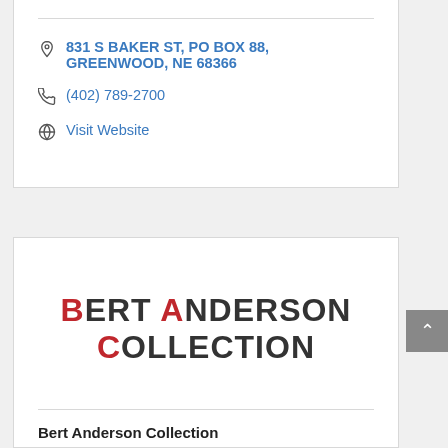831 S BAKER ST, PO BOX 88, GREENWOOD, NE 68366
(402) 789-2700
Visit Website
[Figure (logo): Bert Anderson Collection logo with red and dark grey stylized text]
Bert Anderson Collection